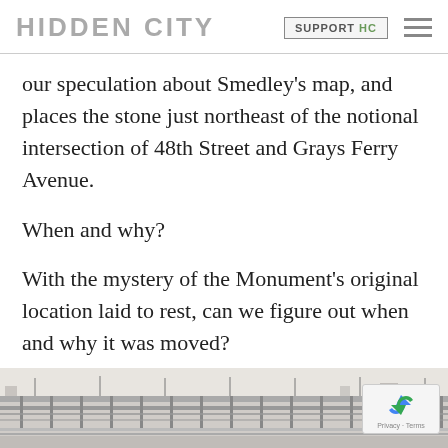HIDDEN CITY | SUPPORT HC
our speculation about Smedley’s map, and places the stone just northeast of the notional intersection of 48th Street and Grays Ferry Avenue.
When and why?
With the mystery of the Monument’s original location laid to rest, can we figure out when and why it was moved?
[Figure (photo): Black and white historical illustration/engraving of what appears to be an elevated railway or bridge structure with urban surroundings.]